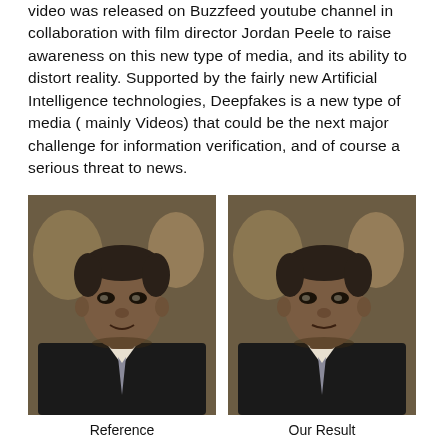video was released on Buzzfeed youtube channel in collaboration with film director Jordan Peele to raise awareness on this new type of media, and its ability to distort reality. Supported by the fairly new Artificial Intelligence technologies, Deepfakes is a new type of media ( mainly Videos) that could be the next major challenge for information verification, and of course a serious threat to news.
[Figure (photo): Two side-by-side video frames showing a man in a suit speaking. Left frame labeled 'Reference', right frame labeled 'Our Result'. Both show similar facial appearance in an indoor setting with background lighting.]
Reference
Our Result